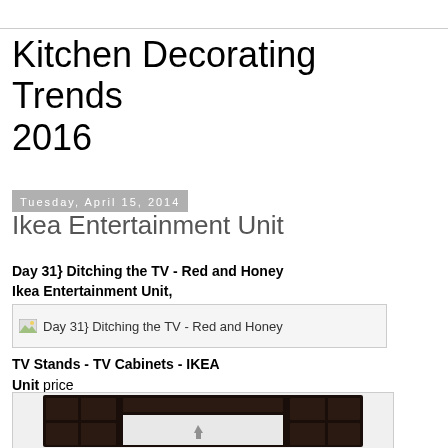Kitchen Decorating Trends 2016
Tuesday, April 15, 2014
Ikea Entertainment Unit
Day 31} Ditching the TV - Red and Honey Ikea Entertainment Unit,
[Figure (photo): Broken image placeholder showing text: Day 31} Ditching the TV - Red and Honey]
TV Stands - TV Cabinets - IKEA Unit price
[Figure (photo): Dark brown IKEA entertainment unit / TV stand with multiple shelves and a center TV opening]